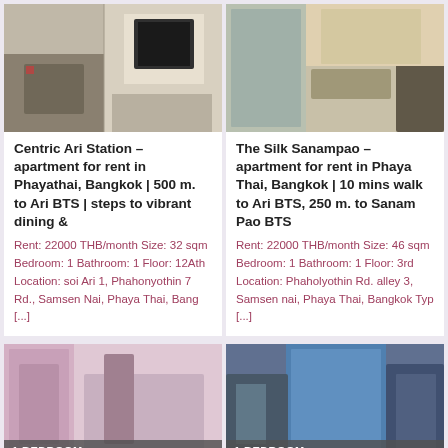[Figure (photo): Interior photo of apartment room with sofa and TV unit, Centric Ari Station listing]
[Figure (photo): Interior photo of apartment with dining table and sofa, The Silk Sanampao listing]
Centric Ari Station – apartment for rent in Phayathai, Bangkok | 500 m. to Ari BTS | steps to vibrant dining &
Rent: 22000 THB/month Size: 32 sqm Bedroom: 1 Bathroom: 1 Floor: 12Ath Location: soi Ari 1, Phahonyothin 7 Rd., Samsen Nai, Phaya Thai, Bang [...]
The Silk Sanampao – apartment for rent in Phaya Thai, Bangkok | 10 mins walk to Ari BTS, 250 m. to Sanam Pao BTS
Rent: 22000 THB/month Size: 46 sqm Bedroom: 1 Bathroom: 1 Floor: 3rd Location: Phaholyothin Rd. alley 3, Samsen nai, Phaya Thai, Bangkok Typ [...]
[Figure (photo): Interior photo of bedroom with pink curtains]
[Figure (photo): Interior photo of room with blue glass window view]